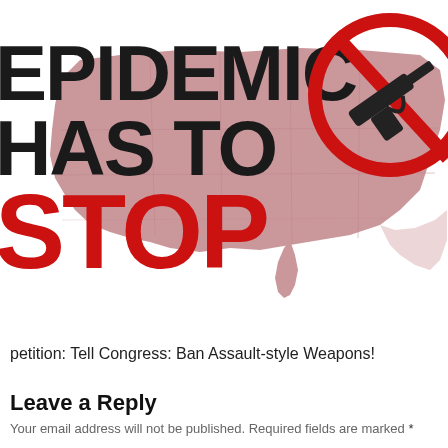[Figure (infographic): Infographic with US map silhouette in muted red/mauve tones showing state outlines. On the left side are large bold text lines partially cropped: 'EPIDEMIC', 'HAS TO', and 'STOP' (STOP in bright red). On the upper right is a red no-gun symbol (circle with diagonal bar over a handgun silhouette). Background is white.]
petition: Tell Congress: Ban Assault-style Weapons!
Leave a Reply
Your email address will not be published. Required fields are marked *
Comment *